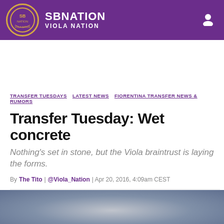SBNATION VIOLA NATION
FANPOSTS | FANSHOTS | MORE
TRANSFER TUESDAYS  LATEST NEWS  FIORENTINA TRANSFER NEWS & RUMORS
Transfer Tuesday: Wet concrete
Nothing's set in stone, but the Viola braintrust is laying the forms.
By The Tito | @Viola_Nation | Apr 20, 2016, 4:09am CEST
SHARE
[Figure (photo): Blurred background photo of a person, partially visible at the bottom of the page]